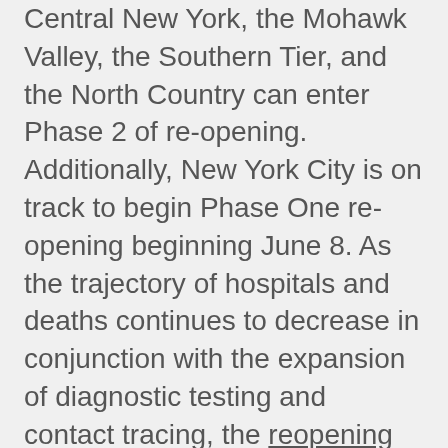Central New York, the Mohawk Valley, the Southern Tier, and the North Country can enter Phase 2 of re-opening. Additionally, New York City is on track to begin Phase One re-opening beginning June 8. As the trajectory of hospitals and deaths continues to decrease in conjunction with the expansion of diagnostic testing and contact tracing, the reopening of business and recreational opportunities will continue to increase.
This week the New York State Legislature introduced and passed a number of COVID-19 specific bills which addressed a diverse range of issues, including those related to rent and mortgage relief, nursing homes